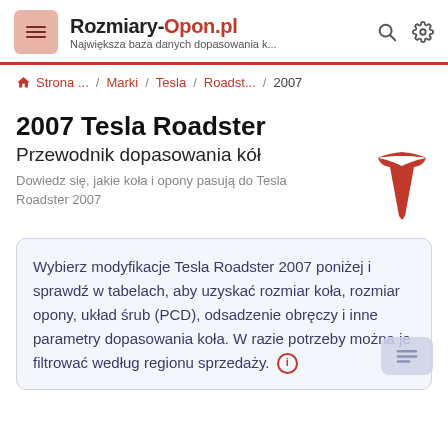Rozmiary-Opon.pl — Największa baza danych dopasowania k...
Strona ... / Marki / Tesla / Roadst... / 2007
2007 Tesla Roadster
Przewodnik dopasowania kół
Dowiedz się, jakie koła i opony pasują do Tesla Roadster 2007
Wybierz modyfikacje Tesla Roadster 2007 poniżej i sprawdź w tabelach, aby uzyskać rozmiar koła, rozmiar opony, układ śrub (PCD), odsadzenie obręczy i inne parametry dopasowania koła. W razie potrzeby można je filtrować według regionu sprzedaży.